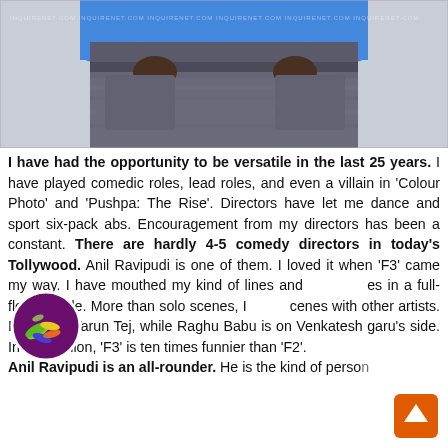[Figure (photo): Lower torso of a person wearing a blue t-shirt and grey jeans with hands in pockets, with watermark text overlay]
I have had the opportunity to be versatile in the last 25 years. I have played comedic roles, lead roles, and even a villain in 'Colour Photo' and 'Pushpa: The Rise'. Directors have let me dance and sport six-pack abs. Encouragement from my directors has been a constant. There are hardly 4-5 comedy directors in today's Tollywood. Anil Ravipudi is one of them. I loved it when 'F3' came my way. I have mouthed my kind of lines and scenes in a full-fledged role. More than solo scenes, I scenes with other artists. I tail after Varun Tej, while Raghu Babu is on Venkatesh garu's side. In my opinion, 'F3' is ten times funnier than 'F2'. Anil Ravipudi is an all-rounder. He is the kind of person
[Figure (logo): Circular logo with dark purple background showing colorful fish/marine creatures emoji-style icons]
[Figure (other): Orange scroll-to-top button with upward arrow]